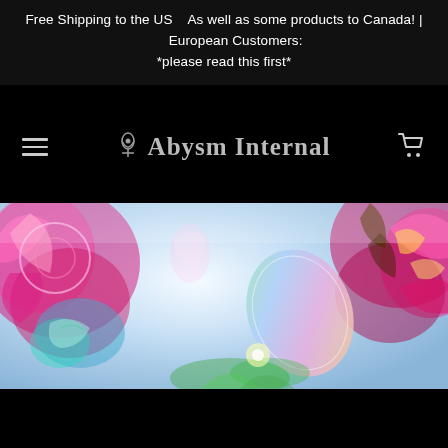Free Shipping to the US    As well as some products to Canada! |      European Customers: *please read this first*
Abysm Internal
[Figure (illustration): Colorful psychedelic digital art image showing ornate floral and mandala-style patterns in pink, magenta, gold, and teal colors with a misty blue-white background. Fantastical figures and decorative shapes with an iridescent oval/egg shape in the center-right area.]